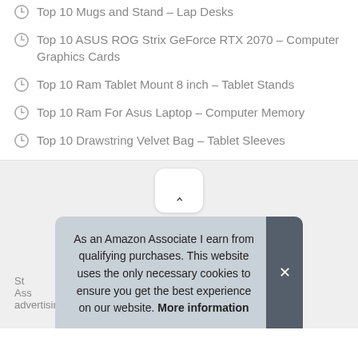Top 10 Mugs and Stand – Lap Desks
Top 10 ASUS ROG Strix GeForce RTX 2070 – Computer Graphics Cards
Top 10 Ram Tablet Mount 8 inch – Tablet Stands
Top 10 Ram For Asus Laptop – Computer Memory
Top 10 Drawstring Velvet Bag – Tablet Sleeves
[Figure (other): Scroll-to-top button with upward chevron arrow on gray background]
St... Ass... advertising and linking to Amazon.com
As an Amazon Associate I earn from qualifying purchases. This website uses the only necessary cookies to ensure you get the best experience on our website. More information